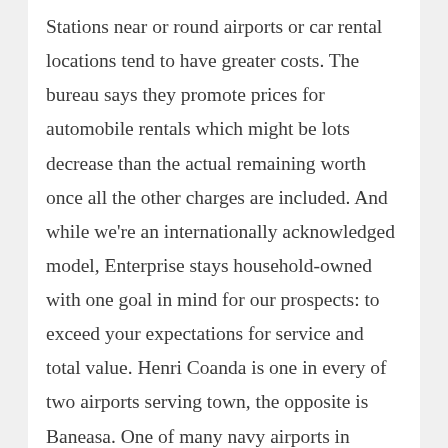Stations near or round airports or car rental locations tend to have greater costs. The bureau says they promote prices for automobile rentals which might be lots decrease than the actual remaining worth once all the other charges are included. And while we're an internationally acknowledged model, Enterprise stays household-owned with one goal in mind for our prospects: to exceed your expectations for service and total value. Henri Coanda is one in every of two airports serving town, the opposite is Baneasa. One of many navy airports in Romania, during World Conflict II, the airport, identified additionally as Otopeni airport, was used as an airbase by the German air force, but also, until 1965, the airport was restricted for